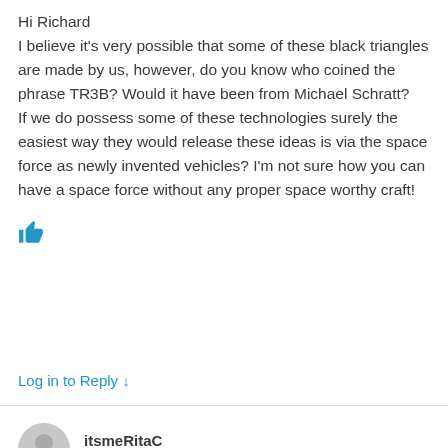Hi Richard
I believe it's very possible that some of these black triangles are made by us, however, do you know who coined the phrase TR3B? Would it have been from Michael Schratt?
If we do possess some of these technologies surely the easiest way they would release these ideas is via the space force as newly invented vehicles? I'm not sure how you can have a space force without any proper space worthy craft!
[Figure (illustration): Blue thumbs up icon]
Log in to Reply ↓
itsmeRitaC
June 23, 2022